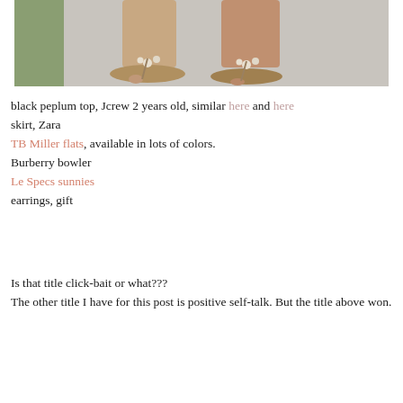[Figure (photo): Close-up photo of feet/ankles wearing jeweled sandal flats, standing on a light concrete surface with green grass visible in background. The image is cropped showing only the lower legs and sandals.]
black peplum top, Jcrew 2 years old, similar here and here
skirt, Zara
TB Miller flats, available in lots of colors.
Burberry bowler
Le Specs sunnies
earrings, gift
Is that title click-bait or what???
The other title I have for this post is positive self-talk. But the title above won.